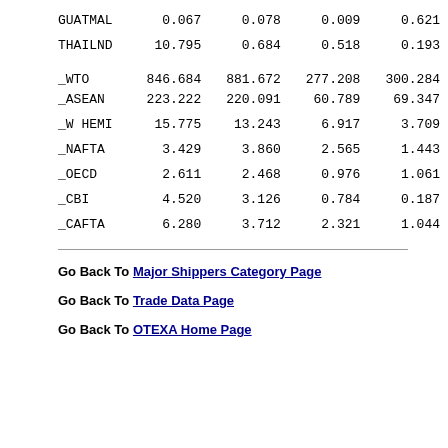| GUATMAL | 0.067 | 0.078 | 0.009 | 0.621 |
| THAILND | 10.795 | 0.684 | 0.518 | 0.193 |
| _WTO | 846.684 | 881.672 | 277.208 | 300.284 |
| _ASEAN | 223.222 | 220.091 | 60.789 | 69.347 |
| _W HEMI | 15.775 | 13.243 | 6.917 | 3.709 |
| _NAFTA | 3.429 | 3.860 | 2.565 | 1.443 |
| _OECD | 2.611 | 2.468 | 0.976 | 1.061 |
| _CBI | 4.520 | 3.126 | 0.784 | 0.187 |
| _CAFTA | 6.280 | 3.712 | 2.321 | 1.044 |
Go Back To Major Shippers Category Page
Go Back To Trade Data Page
Go Back To OTEXA Home Page